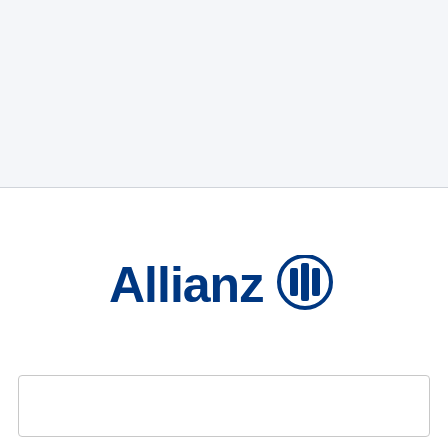[Figure (logo): Allianz logo with eagle symbol — bold blue 'Allianz' text next to a circular emblem containing three vertical bar shapes, in dark blue (#003781)]